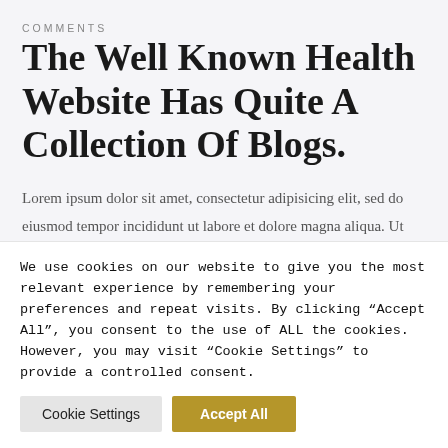COMMENTS
The Well Known Health Website Has Quite A Collection Of Blogs.
Lorem ipsum dolor sit amet, consectetur adipisicing elit, sed do eiusmod tempor incididunt ut labore et dolore magna aliqua. Ut enim ad minim veniam, quis
We use cookies on our website to give you the most relevant experience by remembering your preferences and repeat visits. By clicking “Accept All”, you consent to the use of ALL the cookies. However, you may visit “Cookie Settings” to provide a controlled consent.